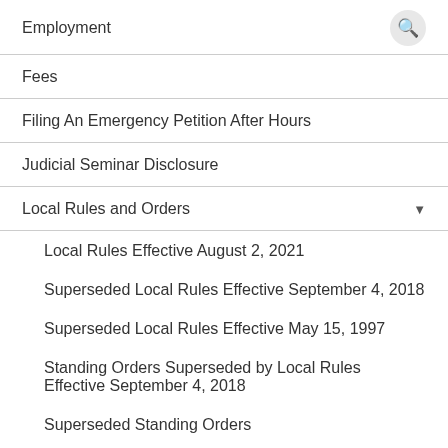Employment
Fees
Filing An Emergency Petition After Hours
Judicial Seminar Disclosure
Local Rules and Orders
Local Rules Effective August 2, 2021
Superseded Local Rules Effective September 4, 2018
Superseded Local Rules Effective May 15, 1997
Standing Orders Superseded by Local Rules Effective September 4, 2018
Superseded Standing Orders
Contested Matter Procedure superseded by Local